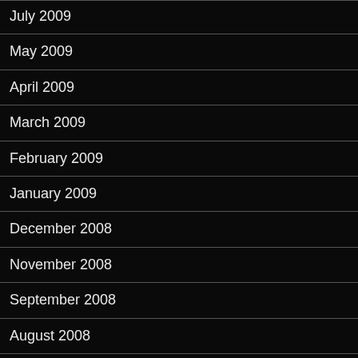July 2009
May 2009
April 2009
March 2009
February 2009
January 2009
December 2008
November 2008
September 2008
August 2008
July 2008
June 2008